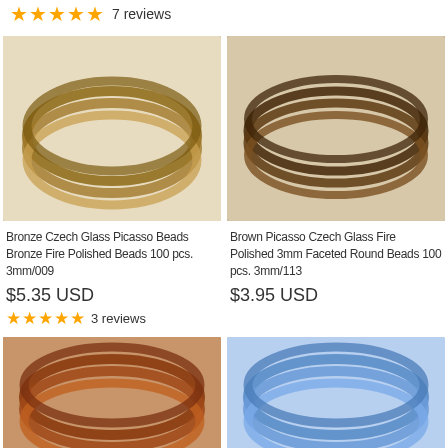★★★★★ 7 reviews
[Figure (photo): Bronze Czech Glass Picasso Beads strands coiled in circular loops, showing faceted bronze-golden glass beads on white background]
Bronze Czech Glass Picasso Beads Bronze Fire Polished Beads 100 pcs. 3mm/009
$5.35 USD
★★★★★ 3 reviews
[Figure (photo): Brown Picasso Czech Glass Fire Polished round beads strands coiled in loops, showing dark brown faceted glass beads on light background]
Brown Picasso Czech Glass Fire Polished 3mm Faceted Round Beads 100 pcs. 3mm/113
$3.95 USD
[Figure (photo): Copper/bronze iridescent Czech glass fire polished bead strands coiled in loops on light background]
[Figure (photo): Blue translucent Czech glass fire polished bead strands coiled in loops on light background]